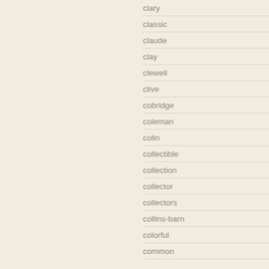clary
classic
claude
clay
clewell
clive
cobridge
coleman
colin
collectible
collection
collector
collectors
collins-barn
colorful
common